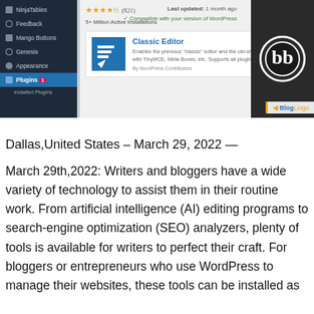[Figure (screenshot): WordPress admin plugin page screenshot showing sidebar navigation with NinjaTables, Feedback, Mango Buttons, Genesis, Appearance, Plugins (active), Installed Plugins, and main content area showing Classic Editor plugin card with 4.5 stars, 5+ Million Active Installations, and a BlogLingo watermark logo.]
Dallas,United States – March 29, 2022 —
March 29th,2022: Writers and bloggers have a wide variety of technology to assist them in their routine work. From artificial intelligence (AI) editing programs to search-engine optimization (SEO) analyzers, plenty of tools is available for writers to perfect their craft. For bloggers or entrepreneurs who use WordPress to manage their websites, these tools can be installed as